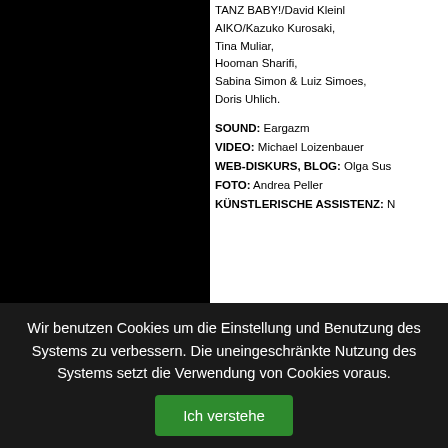[Figure (photo): Black photograph taking up the left portion of the page]
TANZ BABY!/David Kleinl AIKO/Kazuko Kurosaki, Tina Muliar, Hooman Sharifi, Sabina Simon & Luiz Simoes, Doris Uhlich.
SOUND: Eargazm
VIDEO: Michael Loizenbauer
WEB-DISKURS, BLOG: Olga Sus
FOTO: Andrea Peller
KÜNSTLERISCHE ASSISTENZ: N
Wir benutzen Cookies um die Einstellung und Benutzung des Systems zu verbessern. Die uneingeschränkte Nutzung des Systems setzt die Verwendung von Cookies voraus.
Ich verstehe